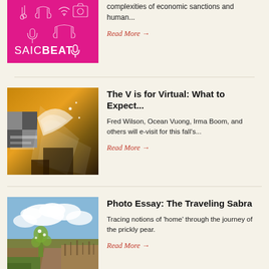[Figure (illustration): SAIC Beat podcast logo on pink/magenta background with white decorative icons]
complexities of economic sanctions and human...
Read More →
[Figure (photo): Abstract orange and dark art fair promotional image with white graphic overlays and text]
The V is for Virtual: What to Expect...
Fred Wilson, Ocean Vuong, Irma Boom, and others will e-visit for this fall's...
Read More →
[Figure (photo): Outdoor landscape photo with prickly pear cactus, dirt road, dry brush, clouds and blue sky]
Photo Essay: The Traveling Sabra
Tracing notions of 'home' through the journey of the prickly pear.
Read More →